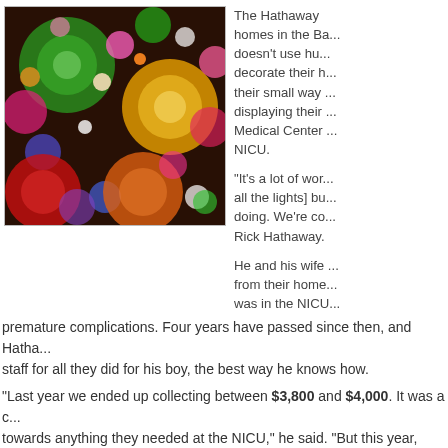[Figure (photo): Bokeh photograph of colorful Christmas lights (red, green, yellow, pink, blue, orange, white) against a dark background]
The Hathaway homes in the Ba... doesn't use hu... decorate their h... their small way ... displaying their ... Medical Center ... NICU. "It's a lot of wor... all the lights] bu... doing. We're co... Rick Hathaway. He and his wife ... from their home... was in the NICU...
premature complications. Four years have passed since then, and Hatha... staff for all they did for his boy, the best way he knows how.
"Last year we ended up collecting between $3,800 and $4,000. It was a c... towards anything they needed at the NICU," he said. "But this year, we're...